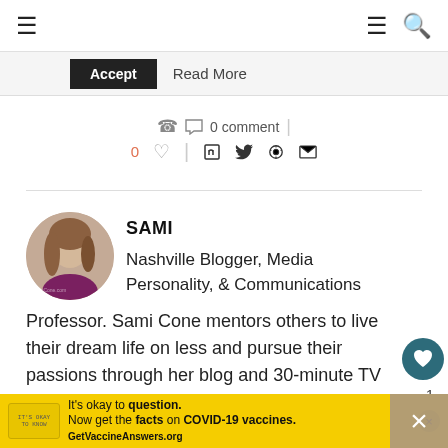Navigation bar with hamburger menu and search icon
Accept  Read More
0 comment
0 ♡  |  f  🐦   Pinterest  ✉
[Figure (photo): Circular avatar photo of Sami Cone, a woman with long hair]
SAMI
Nashville Blogger, Media Personality, & Communications Professor. Sami Cone mentors others to live their dream life on less and pursue their passions through her blog and 30-minute TV sh...re the
It's okay to question. Now get the facts on COVID-19 vaccines. GetVaccineAnswers.org